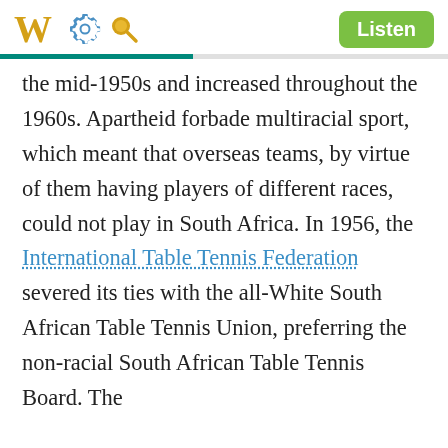W [gear icon] [search icon] Listen
the mid-1950s and increased throughout the 1960s. Apartheid forbade multiracial sport, which meant that overseas teams, by virtue of them having players of different races, could not play in South Africa. In 1956, the International Table Tennis Federation severed its ties with the all-White South African Table Tennis Union, preferring the non-racial South African Table Tennis Board. The